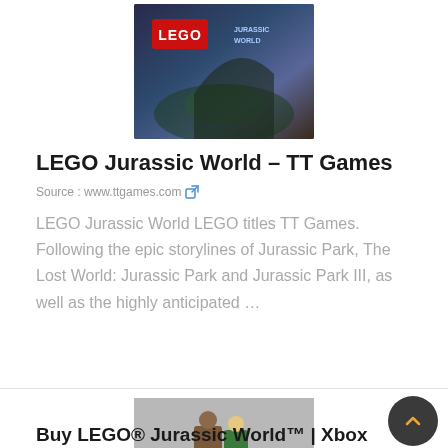[Figure (photo): LEGO Jurassic World game cover art thumbnail showing LEGO logo on dark background]
LEGO Jurassic World – TT Games
Source : www.ttgames.com
LEGO Jurassic World LEGO titles TT Games. Following the epic storylines of Jurassic Park, The Lost World: Jurassic Park and Jurassic Park III, as well as the highly anticipated ...
[Figure (photo): LEGO Jurassic World characters on motorcycle thumbnail]
Buy LEGO® Jurassic World™ | Xbox